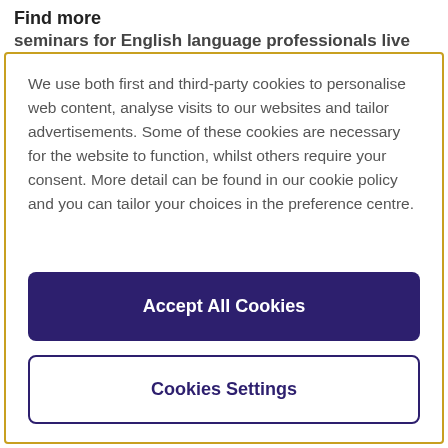Find more
seminars for English language professionals live
We use both first and third-party cookies to personalise web content, analyse visits to our websites and tailor advertisements. Some of these cookies are necessary for the website to function, whilst others require your consent. More detail can be found in our cookie policy and you can tailor your choices in the preference centre.
Accept All Cookies
Cookies Settings